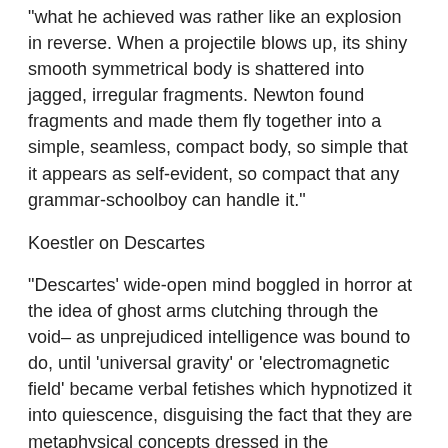“what he achieved was rather like an explosion in reverse. When a projectile blows up, its shiny smooth symmetrical body is shattered into jagged, irregular fragments. Newton found fragments and made them fly together into a simple, seamless, compact body, so simple that it appears as self-evident, so compact that any grammar-schoolboy can handle it.”
Koestler on Descartes
“Descartes’ wide-open mind boggled in horror at the idea of ghost arms clutching through the void– as unprejudiced intelligence was bound to do, until ‘universal gravity’ or ‘electromagnetic field’ became verbal fetishes which hypnotized it into quiescence, disguising the fact that they are metaphysical concepts dressed in the mathematical language of physics”